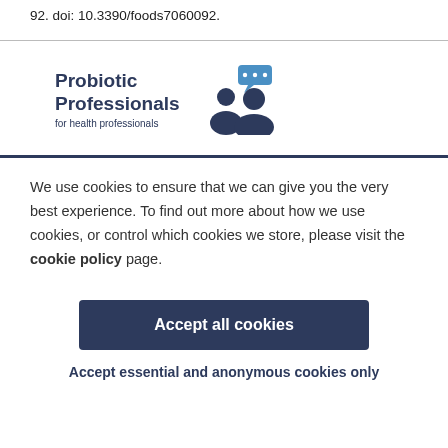92. doi: 10.3390/foods7060092.
[Figure (logo): Probiotic Professionals for health professionals logo with two person silhouettes and a speech bubble]
We use cookies to ensure that we can give you the very best experience. To find out more about how we use cookies, or control which cookies we store, please visit the cookie policy page.
Accept all cookies
Accept essential and anonymous cookies only